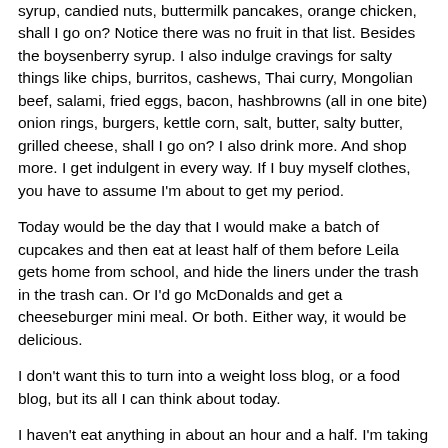syrup, candied nuts, buttermilk pancakes, orange chicken, shall I go on?  Notice there was no fruit in that list.  Besides the boysenberry syrup.  I also indulge cravings for salty things like chips, burritos, cashews, Thai curry, Mongolian beef, salami, fried eggs, bacon, hashbrowns (all in one bite) onion rings, burgers, kettle corn, salt, butter, salty butter, grilled cheese, shall I go on?  I also drink more.  And shop more.  I get indulgent in every way.  If I buy myself clothes, you have to assume I'm about to get my period.
Today would be the day that I would make a batch of cupcakes and then eat at least half of them before Leila gets home from school, and hide the liners under the trash in the trash can.  Or I'd go McDonalds and get a cheeseburger mini meal.  Or both.  Either way, it would be delicious.
I don't want this to turn into a weight loss blog, or a food blog, but its all I can think about today.
I haven't eat anything in about an hour and a half.  I'm taking it one moment at a time.